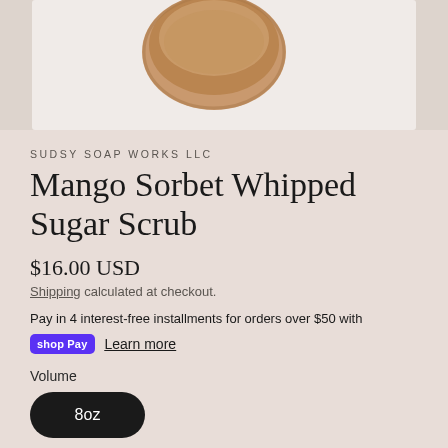[Figure (photo): Product photo showing a wooden bowl on a light background, partially cropped at top]
SUDSY SOAP WORKS LLC
Mango Sorbet Whipped Sugar Scrub
$16.00 USD
Shipping calculated at checkout.
Pay in 4 interest-free installments for orders over $50 with shop Pay Learn more
Volume
8oz
Quantity
- 1 +